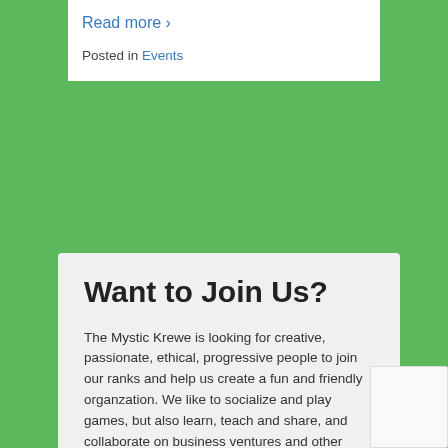Read more ›
Posted in Events
Want to Join Us?
The Mystic Krewe is looking for creative, passionate, ethical, progressive people to join our ranks and help us create a fun and friendly organzation. We like to socialize and play games, but also learn, teach and share, and collaborate on business ventures and other projects. If this sounds interesting to you, consider petitioning to become a member. Check the topics on the upper nav bar under "About Us": "FAQ", and "Membership" for more information, then Contact Us to set up a meeting and tour!
Sell or donate your Pinball or Arcade